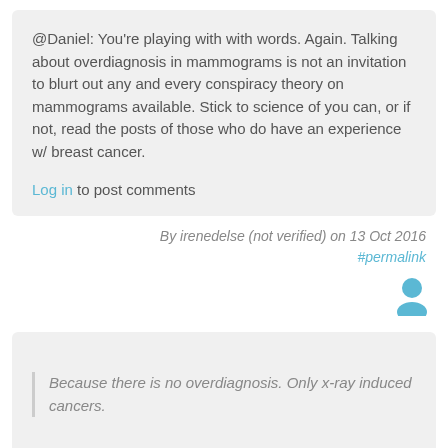@Daniel: You're playing with with words. Again. Talking about overdiagnosis in mammograms is not an invitation to blurt out any and every conspiracy theory on mammograms available. Stick to science of you can, or if not, read the posts of those who do have an experience w/ breast cancer.
Log in to post comments
By irenedelse (not verified) on 13 Oct 2016
#permalink
[Figure (illustration): User avatar icon in blue/teal color]
Because there is no overdiagnosis. Only x-ray induced cancers.